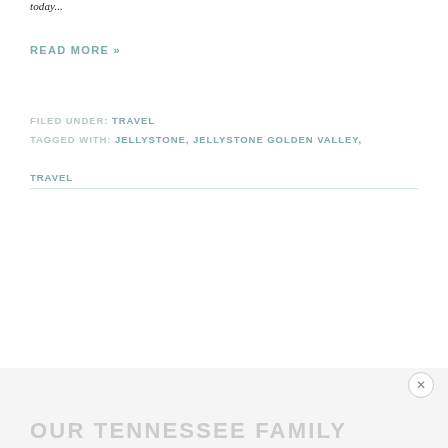today...
READ MORE »
FILED UNDER: TRAVEL
TAGGED WITH: JELLYSTONE, JELLYSTONE GOLDEN VALLEY, TRAVEL
OUR TENNESSEE FAMILY